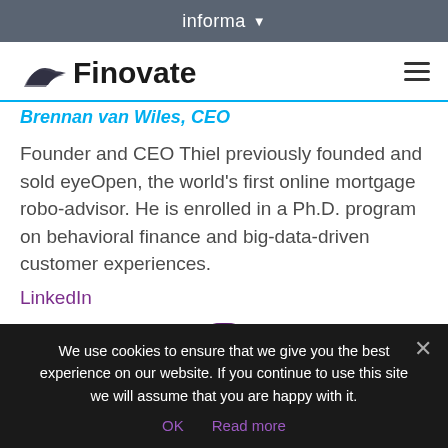informa
[Figure (logo): Finovate logo with stylized wing/arrow graphic and hamburger menu icon]
Brennan van Wiles, CEO
Founder and CEO Thiel previously founded and sold eyeOpen, the world’s first online mortgage robo-advisor. He is enrolled in a Ph.D. program on behavioral finance and big-data-driven customer experiences.
LinkedIn
[Figure (photo): Circular profile photo of a blonde woman against a purple background]
We use cookies to ensure that we give you the best experience on our website. If you continue to use this site we will assume that you are happy with it.
OK  Read more